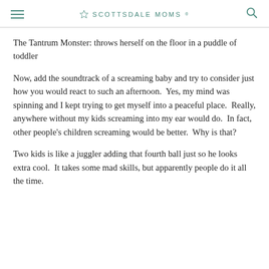SCOTTSDALE MOMS
The Tantrum Monster: throws herself on the floor in a puddle of toddler
Now, add the soundtrack of a screaming baby and try to consider just how you would react to such an afternoon.  Yes, my mind was spinning and I kept trying to get myself into a peaceful place.  Really, anywhere without my kids screaming into my ear would do.  In fact, other people's children screaming would be better.  Why is that?
Two kids is like a juggler adding that fourth ball just so he looks extra cool.  It takes some mad skills, but apparently people do it all the time.